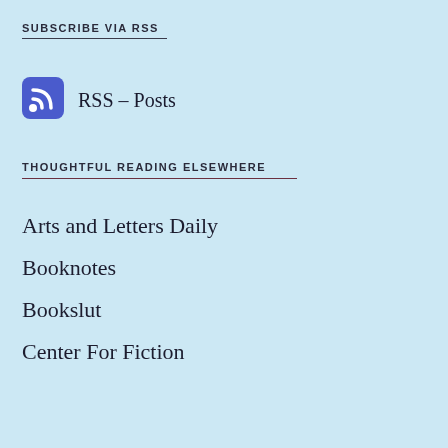SUBSCRIBE VIA RSS
[Figure (logo): RSS feed icon - blue rounded square with white RSS signal symbol]
RSS – Posts
THOUGHTFUL READING ELSEWHERE
Arts and Letters Daily
Booknotes
Bookslut
Center For Fiction